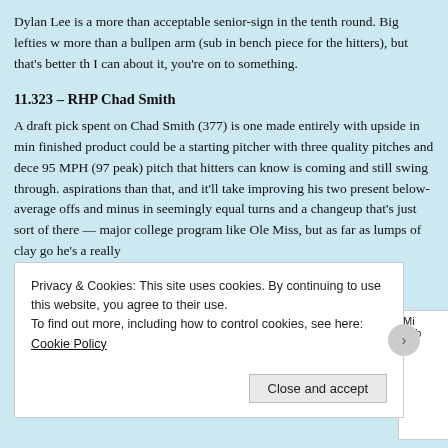Dylan Lee is a more than acceptable senior-sign in the tenth round. Big lefties w more than a bullpen arm (sub in bench piece for the hitters), but that's better th I can about it, you're on to something.
11.323 – RHP Chad Smith
A draft pick spent on Chad Smith (377) is one made entirely with upside in min finished product could be a starting pitcher with three quality pitches and dece 95 MPH (97 peak) pitch that hitters can know is coming and still swing through. aspirations than that, and it'll take improving his two present below-average offs and minus in seemingly equal turns and a changeup that's just sort of there — major college program like Ole Miss, but as far as lumps of clay go he's a really
12.353 – RHP Mike King
Whenever I have something I think is interesting from the past to bring up wher Boston College preview back in December 2015…
Privacy & Cookies: This site uses cookies. By continuing to use this website, you agree to their use.
To find out more, including how to control cookies, see here: Cookie Policy
Close and accept